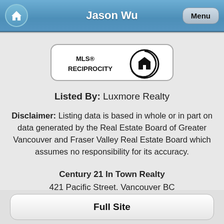Jason Wu
[Figure (logo): MLS Reciprocity logo — rounded rectangle border with MLS® RECIPROCITY text and house icon]
Listed By: Luxmore Realty
Disclaimer: Listing data is based in whole or in part on data generated by the Real Estate Board of Greater Vancouver and Fraser Valley Real Estate Board which assumes no responsibility for its accuracy.
Century 21 In Town Realty
421 Pacific Street, Vancouver BC
604-685-5951
Full Site